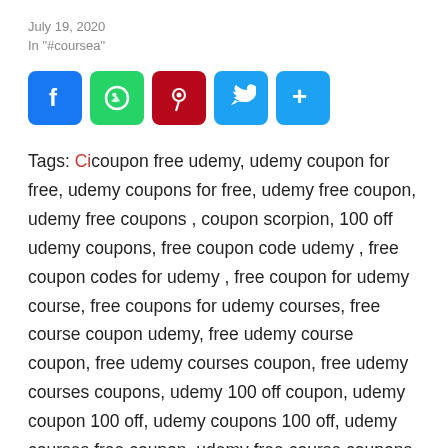July 19, 2020
In "#coursea"
[Figure (infographic): Social share icons: Facebook (blue), WhatsApp (green), Pinterest (dark red), Twitter (light blue), More/Share (light blue)]
Tags: Cicoupon free udemy, udemy coupon for free, udemy coupons for free, udemy free coupon, udemy free coupons , coupon scorpion, 100 off udemy coupons, free coupon code udemy , free coupon codes for udemy , free coupon for udemy course, free coupons for udemy courses, free course coupon udemy, free udemy course coupon, free udemy courses coupon, free udemy courses coupons, udemy 100 off coupon, udemy coupon 100 off, udemy coupons 100 off, udemy courses free coupon, udemy free course coupons, udemy free courses coupons ,100 off coupon, 100 % off coupons, 100 udemy coupon,